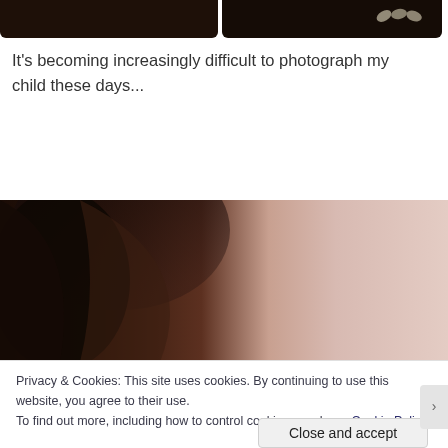[Figure (photo): Two cropped photos at top: left shows dark wooden or chocolate-colored items, right shows similar dark items with a decorative floral element visible]
It's becoming increasingly difficult to photograph my child these days...
[Figure (photo): Close-up blurred photo of a child's head and shoulder, showing dark hair and pale skin/clothing]
Privacy & Cookies: This site uses cookies. By continuing to use this website, you agree to their use.
To find out more, including how to control cookies, see here: Cookie Policy
Close and accept